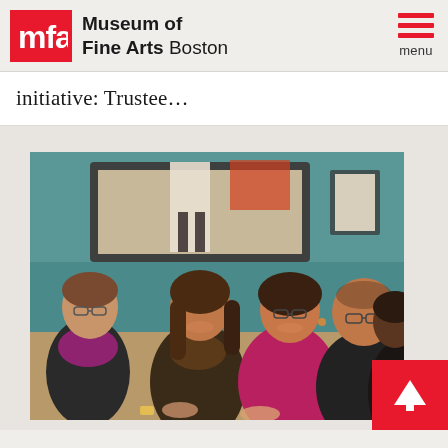Museum of Fine Arts Boston — menu
initiative: Trustee…
[Figure (photo): Group of people seated in a museum gallery, smiling and listening. Background shows teal walls and a framed painting. Several adults visible including women in purple and magenta scarves and a man in dark clothing.]